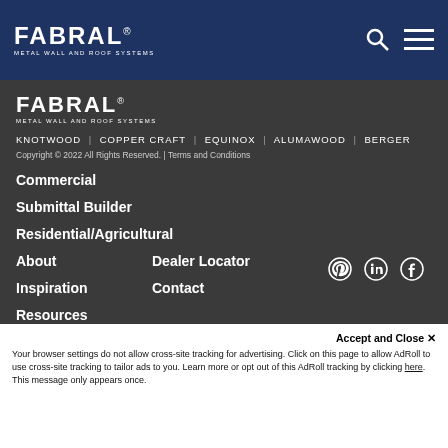FABRAL METAL WALL AND ROOF SYSTEMS
[Figure (logo): Fabral Metal Wall and Roof Systems logo in white on dark blue background]
FABRAL METAL WALL AND ROOF SYSTEMS
KNOTWOOD | COPPER CRAFT | EQUINOX | ALUMAWOOD | BERGER
Copyright © 2022 All Rights Reserved. | Terms and Conditions
Commercial
Submittal Builder
Residential/Agricultural
About
Dealer Locator
Inspiration
Contact
Resources
News
Accept and Close ✕
Your browser settings do not allow cross-site tracking for advertising. Click on this page to allow AdRoll to use cross-site tracking to tailor ads to you. Learn more or opt out of this AdRoll tracking by clicking here. This message only appears once.